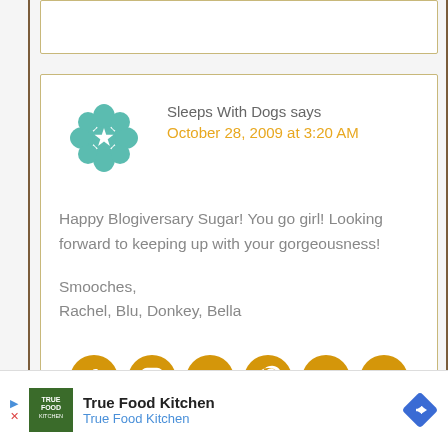[Figure (other): Teal geometric/mandala avatar icon for 'Sleeps With Dogs' commenter]
Sleeps With Dogs says
October 28, 2009 at 3:20 AM
Happy Blogiversary Sugar! You go girl! Looking forward to keeping up with your gorgeousness!

Smooches,
Rachel, Blu, Donkey, Bella
[Figure (infographic): Row of gold social media icon circles: Facebook, Instagram, Twitter, Pinterest, YouTube, Newsletter]
True Food Kitchen
True Food Kitchen